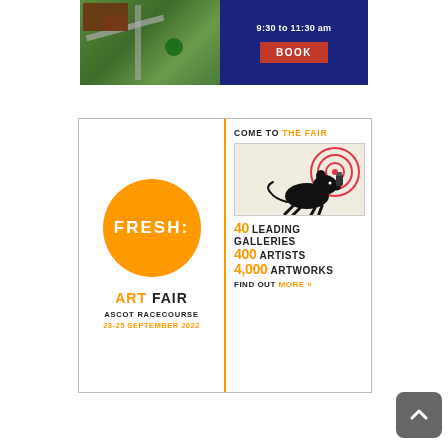[Figure (screenshot): Top portion of webpage showing an aerial view of a location on the left (dark blue overlay cut off) and a dark navy blue panel on the right with white text '9:30 to 11:30 am' and a red BOOK button.]
[Figure (infographic): Fresh: Art Fair advertisement banner. Left side shows orange circle with FRESH: text, ART FAIR heading, ASCOT RACECOURSE, 23-25 SEPTEMBER 2022. Right side shows 'COME TO THE FAIR', a Banksy-style rat artwork image, then stats: 40 LEADING GALLERIES, 400 ARTISTS, 4,000 ARTWORKS, FIND OUT MORE >>]